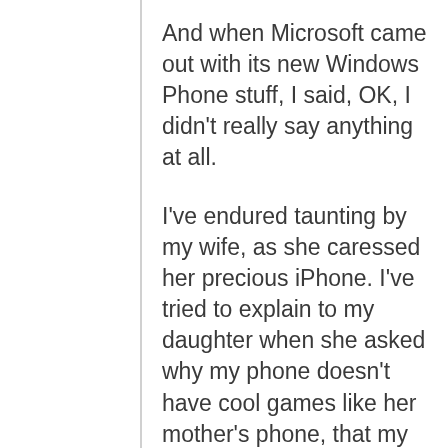And when Microsoft came out with its new Windows Phone stuff, I said, OK, I didn't really say anything at all.
I've endured taunting by my wife, as she caressed her precious iPhone. I've tried to explain to my daughter when she asked why my phone doesn't have cool games like her mother's phone, that my BlackBerry is a work tool, you